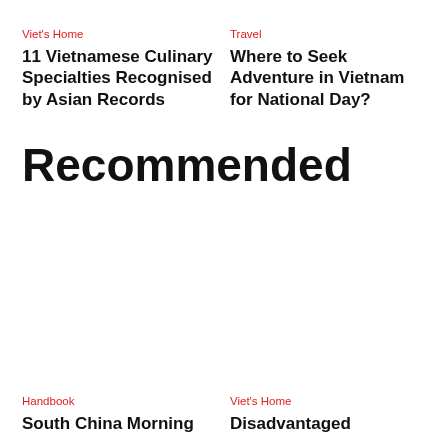Viet's Home
11 Vietnamese Culinary Specialties Recognised by Asian Records
Travel
Where to Seek Adventure in Vietnam for National Day?
Recommended
Handbook
South China Morning
Viet's Home
Disadvantaged